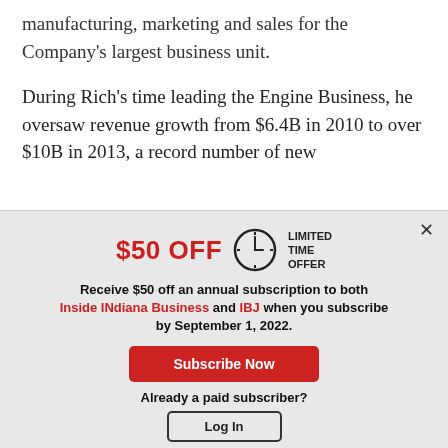manufacturing, marketing and sales for the Company's largest business unit.
During Rich's time leading the Engine Business, he oversaw revenue growth from $6.4B in 2010 to over $10B in 2013, a record number of new
$50 OFF  LIMITED TIME OFFER
Receive $50 off an annual subscription to both Inside INdiana Business and IBJ when you subscribe by September 1, 2022.
Subscribe Now
Already a paid subscriber?
Log In